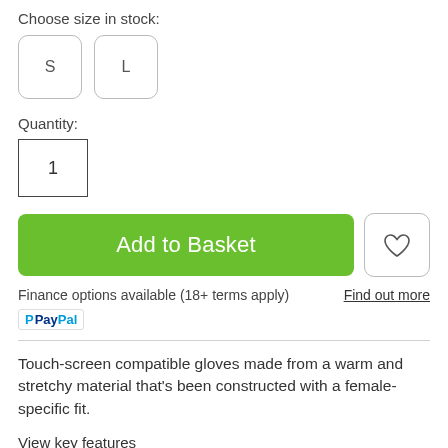Choose size in stock:
S   L
Quantity:
1
Add to Basket
Finance options available (18+ terms apply)
Find out more
[Figure (logo): PayPal logo]
Touch-screen compatible gloves made from a warm and stretchy material that's been constructed with a female-specific fit.
View key features